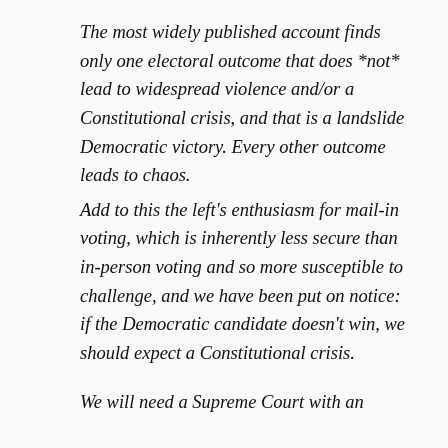The most widely published account finds only one electoral outcome that does *not* lead to widespread violence and/or a Constitutional crisis, and that is a landslide Democratic victory. Every other outcome leads to chaos. Add to this the left's enthusiasm for mail-in voting, which is inherently less secure than in-person voting and so more susceptible to challenge, and we have been put on notice: if the Democratic candidate doesn't win, we should expect a Constitutional crisis.

We will need a Supreme Court with an